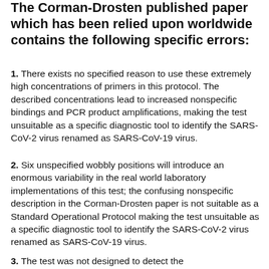The Corman-Drosten published paper which has been relied upon worldwide contains the following specific errors:
1. There exists no specified reason to use these extremely high concentrations of primers in this protocol. The described concentrations lead to increased nonspecific bindings and PCR product amplifications, making the test unsuitable as a specific diagnostic tool to identify the SARS-CoV-2 virus renamed as SARS-CoV-19 virus.
2. Six unspecified wobbly positions will introduce an enormous variability in the real world laboratory implementations of this test; the confusing nonspecific description in the Corman-Drosten paper is not suitable as a Standard Operational Protocol making the test unsuitable as a specific diagnostic tool to identify the SARS-CoV-2 virus renamed as SARS-CoV-19 virus.
3. The test was not designed to detect the...